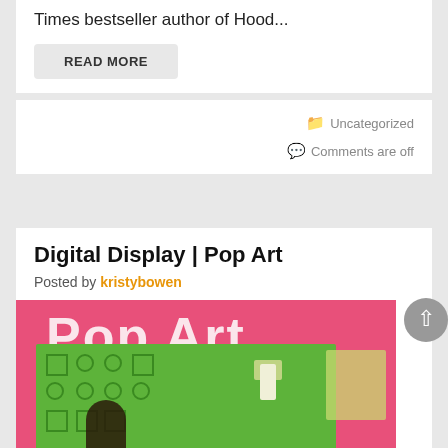Times bestseller author of Hood...
READ MORE
Uncategorized
Comments are off
Digital Display | Pop Art
Posted by kristybowen
[Figure (illustration): Book cover showing Pop Art text on pink background with green panel, decorative shapes, and a figure silhouette]